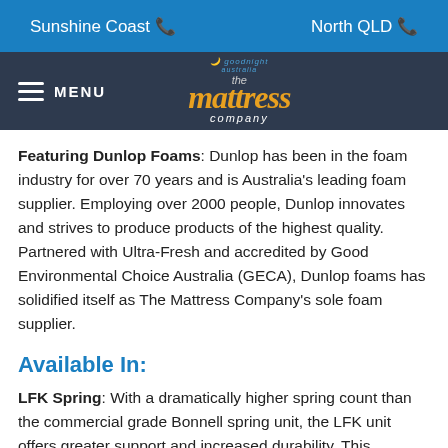Sunshine Coast  North QLD
[Figure (logo): The Mattress Company logo with 'goodnight australia' tagline and hamburger menu icon]
Featuring Dunlop Foams: Dunlop has been in the foam industry for over 70 years and is Australia's leading foam supplier. Employing over 2000 people, Dunlop innovates and strives to produce products of the highest quality. Partnered with Ultra-Fresh and accredited by Good Environmental Choice Australia (GECA), Dunlop foams has solidified itself as The Mattress Company's sole foam supplier.
Available In:
LFK Spring: With a dramatically higher spring count than the commercial grade Bonnell spring unit, the LFK unit offers greater support and increased durability. This translates to a higher quality spring unit suitable for a wider range of